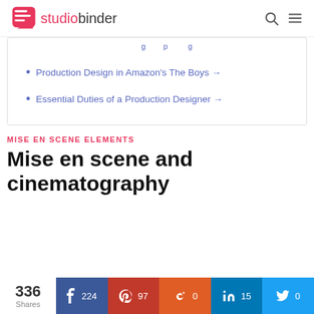studiobinder
Production Design in Amazon's The Boys →
Essential Duties of a Production Designer →
MISE EN SCENE ELEMENTS
Mise en scene and cinematography
336 Shares  224  97  0  15  0